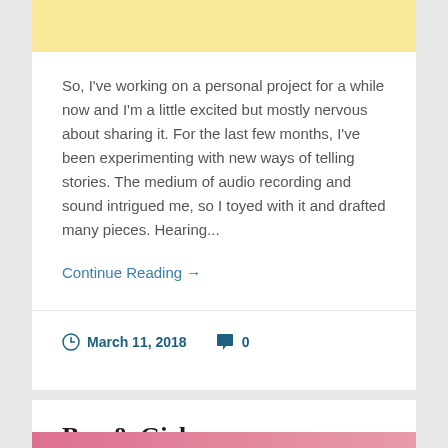So, I've working on a personal project for a while now and I'm a little excited but mostly nervous about sharing it. For the last few months, I've been experimenting with new ways of telling stories. The medium of audio recording and sound intrigued me, so I toyed with it and drafted many pieces. Hearing...
Continue Reading →
March 11, 2018   0
Boy & Girl.